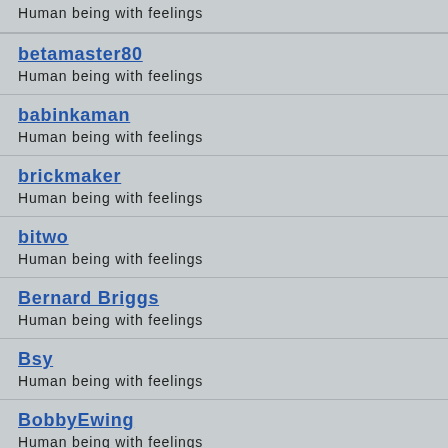Human being with feelings
betamaster80
Human being with feelings
babinkaman
Human being with feelings
brickmaker
Human being with feelings
bitwo
Human being with feelings
Bernard Briggs
Human being with feelings
Bsy
Human being with feelings
BobbyEwing
Human being with feelings
Bruno.tec
Human being with feelings
Byrnsey
Human being with feelings